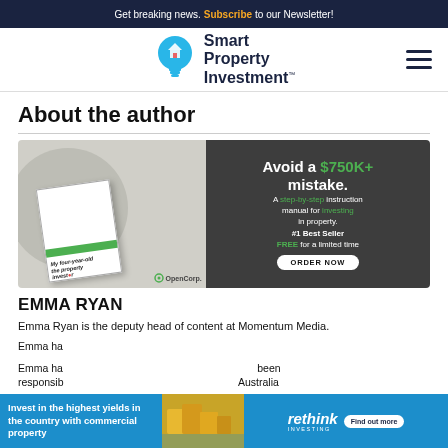Get breaking news. Subscribe to our Newsletter!
[Figure (logo): Smart Property Investment logo with light bulb icon]
About the author
[Figure (infographic): OpenCorp ad: Avoid a $750K+ mistake. A step-by-step instruction manual for investing in property. #1 Best Seller FREE for a limited time. ORDER NOW. Book: My four-year-old the property investor.]
EMMA RYAN
Emma Ryan is the deputy head of content at Momentum Media.
[Figure (infographic): Rethink Investing ad: Invest in the highest yields in the country with commercial property. Find out more.]
Emma ha... been responsible... Australia